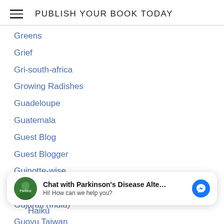PUBLISH YOUR BOOK TODAY
Greens
Grief
Gri-south-africa
Growing Radishes
Guadeloupe
Guatemala
Guest Blog
Guest Blogger
Guinotte-wise
Guitar
Gujarati (India)
Guoyu Taiwan
Gupapuy331u-dialect
Gur... dialect (truncated)
[Figure (screenshot): Chat overlay: avatar with green circle icon, bold text 'Chat with Parkinson's Disease Alte...' and subtext 'Hi! How can we help you?', blue Messenger icon on right]
Haiku